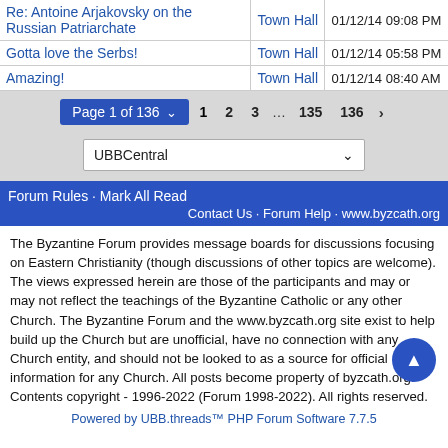| Topic | Forum | Date |
| --- | --- | --- |
| Re: Antoine Arjakovsky on the Russian Patriarchate | Town Hall | 01/12/14 09:08 PM |
| Gotta love the Serbs! | Town Hall | 01/12/14 05:58 PM |
| Amazing! | Town Hall | 01/12/14 08:40 AM |
Page 1 of 136  1  2  3  ...  135  136  ▶
UBBCentral
Forum Rules · Mark All Read  Contact Us · Forum Help · www.byzcath.org
The Byzantine Forum provides message boards for discussions focusing on Eastern Christianity (though discussions of other topics are welcome). The views expressed herein are those of the participants and may or may not reflect the teachings of the Byzantine Catholic or any other Church. The Byzantine Forum and the www.byzcath.org site exist to help build up the Church but are unofficial, have no connection with any Church entity, and should not be looked to as a source for official information for any Church. All posts become property of byzcath.org. Contents copyright - 1996-2022 (Forum 1998-2022). All rights reserved.
Powered by UBB.threads™ PHP Forum Software 7.7.5